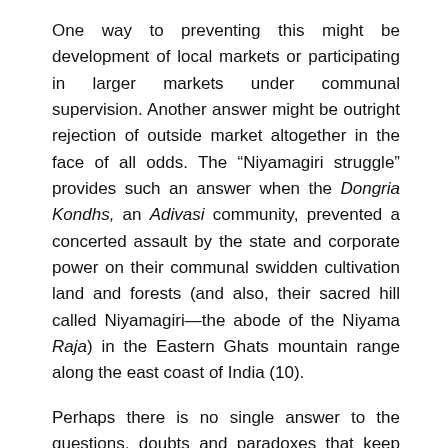One way to preventing this might be development of local markets or participating in larger markets under communal supervision. Another answer might be outright rejection of outside market altogether in the face of all odds. The “Niyamagiri struggle” provides such an answer when the Dongria Kondhs, an Adivasi community, prevented a concerted assault by the state and corporate power on their communal swidden cultivation land and forests (and also, their sacred hill called Niyamagiri—the abode of the Niyama Raja) in the Eastern Ghats mountain range along the east coast of India (10).
Perhaps there is no single answer to the questions, doubts and paradoxes that keep on surfacing as new struggles emerge and newer forms of